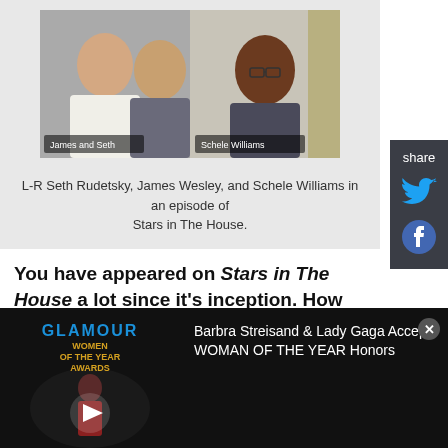[Figure (photo): Screenshot of a video call showing L-R Seth Rudetsky, James Wesley, and Schele Williams in an episode of Stars in The House]
L-R Seth Rudetsky, James Wesley, and Schele Williams in an episode of Stars in The House.
You have appeared on Stars in The House a lot since it's inception. How did you come to meet the tireless hosts of that show Seth Rudetsky and James Wesley in the first place?
I've known Seth for over 20 years. He and James are
[Figure (screenshot): Video overlay: Glamour Women of the Year Awards thumbnail with play button, and title: Barbra Streisand & Lady Gaga Accept WOMAN OF THE YEAR Honors]